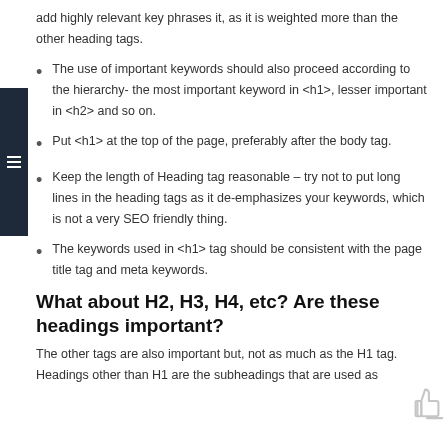add highly relevant key phrases it, as it is weighted more than the other heading tags.
The use of important keywords should also proceed according to the hierarchy- the most important keyword in <h1>, lesser important in <h2> and so on.
Put <h1> at the top of the page, preferably after the body tag.
Keep the length of Heading tag reasonable – try not to put long lines in the heading tags as it de-emphasizes your keywords, which is not a very SEO friendly thing.
The keywords used in <h1> tag should be consistent with the page title tag and meta keywords.
What about H2, H3, H4, etc? Are these headings important?
The other tags are also important but, not as much as the H1 tag. Headings other than H1 are the subheadings that are used as...